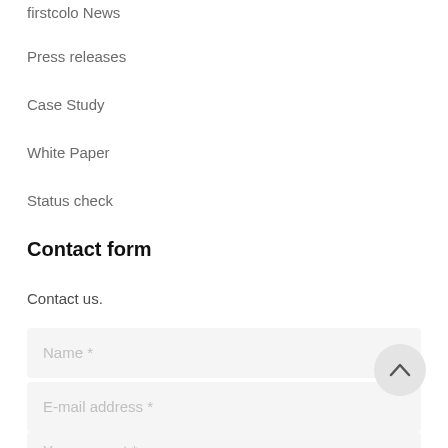firstcolo News
Press releases
Case Study
White Paper
Status check
Contact form
Contact us.
Name *
E-mail address *
Your request *